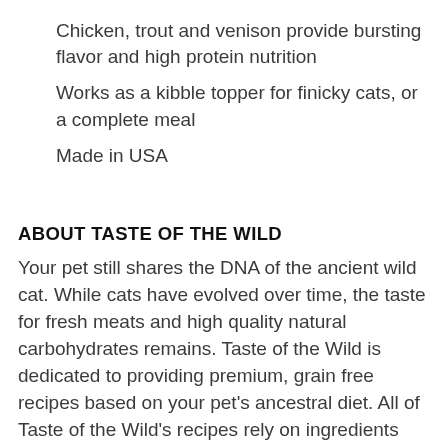Chicken, trout and venison provide bursting flavor and high protein nutrition
Works as a kibble topper for finicky cats, or a complete meal
Made in USA
ABOUT TASTE OF THE WILD
Your pet still shares the DNA of the ancient wild cat. While cats have evolved over time, the taste for fresh meats and high quality natural carbohydrates remains. Taste of the Wild is dedicated to providing premium, grain free recipes based on your pet's ancestral diet. All of Taste of the Wild's recipes rely on ingredients like quality meats and probiotics that maximize the nutritional health benefits for your pets. Each recipe is